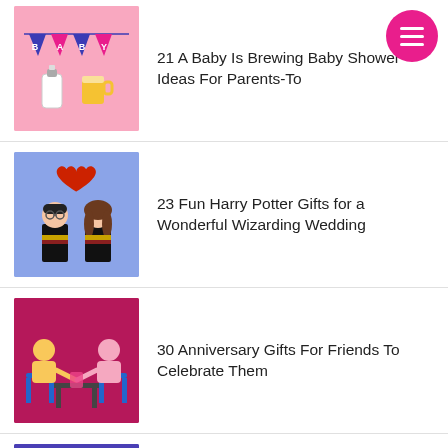[Figure (illustration): Pink baby shower themed thumbnail with 'BABY' bunting flags and milk bottle and beer mug icons]
21 A Baby Is Brewing Baby Shower Ideas For Parents-To
[Figure (illustration): Blue background thumbnail with Harry Potter and Hermione cartoon characters in Hogwarts robes with a red heart]
23 Fun Harry Potter Gifts for a Wonderful Wizarding Wedding
[Figure (illustration): Magenta/dark pink thumbnail with two women sitting at a table celebrating]
30 Anniversary Gifts For Friends To Celebrate Them
[Figure (illustration): Dark blue/purple thumbnail with an iron or flat iron illustration]
29 Strong Iron Anniversary Gifts For Him To Celebrate 6 Years